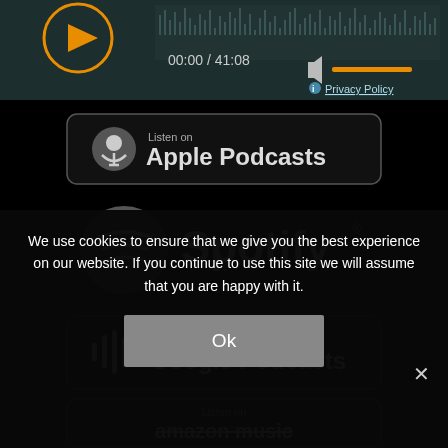[Figure (screenshot): Audio player bar showing play button (orange circle with triangle), timestamp 00:00 / 41:08, volume icon, orange volume bar, and Privacy Policy link on dark teal background]
[Figure (logo): Listen on Apple Podcasts badge - rounded rectangle with podcast icon and text]
[Figure (logo): Spotify logo - grey circle with streaming lines and Spotify wordmark]
[Figure (logo): Listen on Google Podcasts badge - rounded rectangle with colorful bar icon and text]
[Figure (logo): Listen on Amazon Music badge - rounded rectangle with amazon music text]
We use cookies to ensure that we give you the best experience on our website. If you continue to use this site we will assume that you are happy with it.
Ok